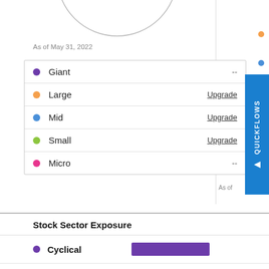[Figure (other): Partial arc/circle chart at top of page, cropped]
As of May 31, 2022
Giant  --
Large  Upgrade
Mid  Upgrade
Small  Upgrade
Micro  --
Stock Sector Exposure
Cyclical (bar shown)
Basic Materials